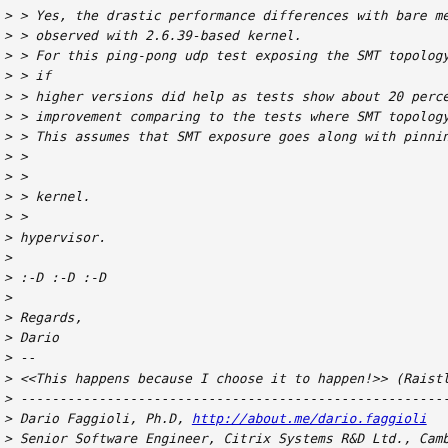> > Yes, the drastic performance differences with bare metal w
> > observed with 2.6.39-based kernel.
> > For this ping-pong udp test exposing the SMT topology to t
> > if
> > higher versions did help as tests show about 20 percent pe
> > improvement comparing to the tests where SMT topology is n
> > This assumes that SMT exposure goes along with pinning.
> >
> >
> > kernel.
> >
> hypervisor.
>
> :-D :-D :-D
>
> Regards,
> Dario
> --
> <<This happens because I choose it to happen!>> (Raistlin Ma
> ------------------------------------------------------------
> Dario Faggioli, Ph.D, http://about.me/dario.faggioli
> Senior Software Engineer, Citrix Systems R&D Ltd., Cambridge
>